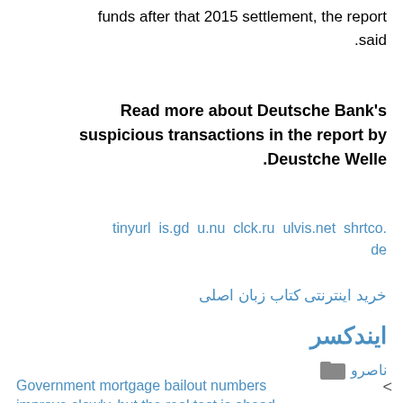funds after that 2015 settlement, the report said.
Read more about Deutsche Bank's suspicious transactions in the report by Deustche Welle.
tinyurl  is.gd  u.nu  clck.ru  ulvis.net  shrtco.de
خرید اینترنتی کتاب زبان اصلی
ایندکسر
ناصرو
Government mortgage bailout numbers improve slowly, but the real test is ahead